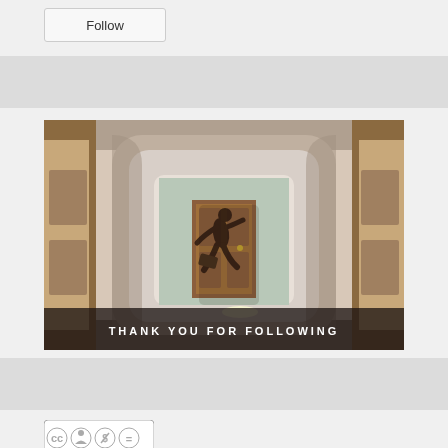Follow
[Figure (photo): A person running through an archway corridor in a dimly lit building, with wooden doors visible at the end. Text overlay reads THANK YOU FOR FOLLOWING in white spaced lettering at the bottom.]
[Figure (logo): Creative Commons BY NC ND license badge]